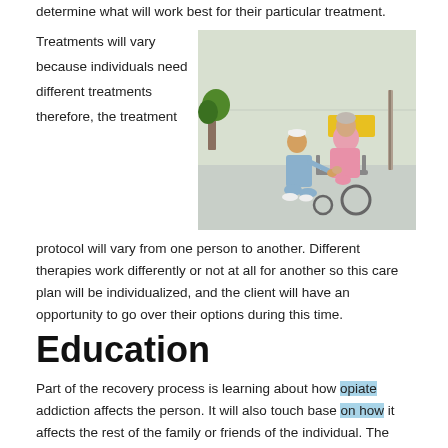determine what will work best for their particular treatment.
Treatments will vary because individuals need different treatments therefore, the treatment protocol will vary from one person to another. Different therapies work differently or not at all for another so this care plan will be individualized, and the client will have an opportunity to go over their options during this time.
[Figure (photo): A nurse in blue scrubs kneeling beside an elderly patient in a pink gown seated in a wheelchair, in a hospital corridor.]
Education
Part of the recovery process is learning about how opiate addiction affects the person. It will also touch base on how it affects the rest of the family or friends of the individual. The client often doesn't seem to think that their behavior has a